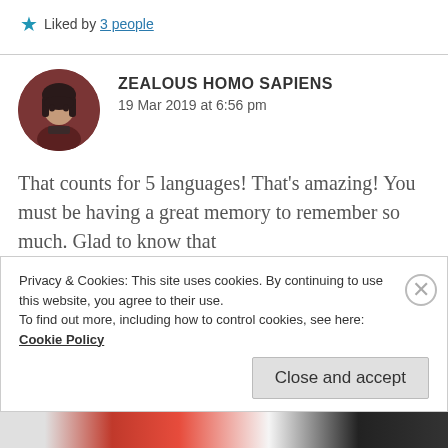Liked by 3 people
[Figure (photo): Circular avatar of user Zealous Homo Sapiens, showing an anime-style figure with dark hair against a reddish-brown background]
ZEALOUS HOMO SAPIENS
19 Mar 2019 at 6:56 pm
That counts for 5 languages! That’s amazing! You must be having a great memory to remember so much. Glad to know that
Privacy & Cookies: This site uses cookies. By continuing to use this website, you agree to their use.
To find out more, including how to control cookies, see here: Cookie Policy
Close and accept